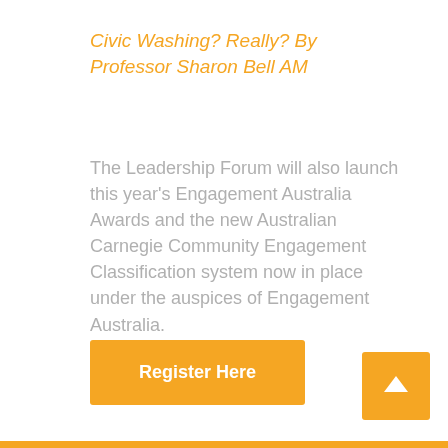Civic Washing? Really? By Professor Sharon Bell AM
The Leadership Forum will also launch this year’s Engagement Australia Awards and the new Australian Carnegie Community Engagement Classification system now in place under the auspices of Engagement Australia.
[Figure (other): Orange 'Register Here' button]
[Figure (other): Orange square button with white upward arrow icon]